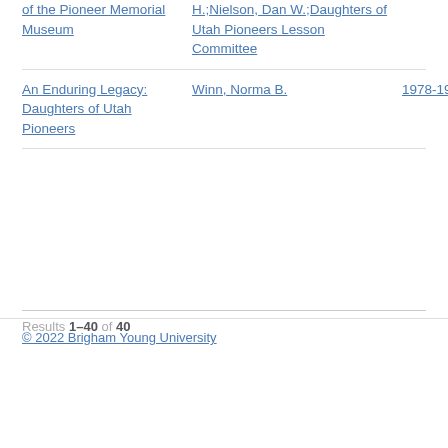of the Pioneer Memorial Museum
H.;Nielson, Dan W.;Daughters of Utah Pioneers Lesson Committee
An Enduring Legacy: Daughters of Utah Pioneers
Winn, Norma B.
1978-1989
Results 1–40 of 40
© 2022 Brigham Young University